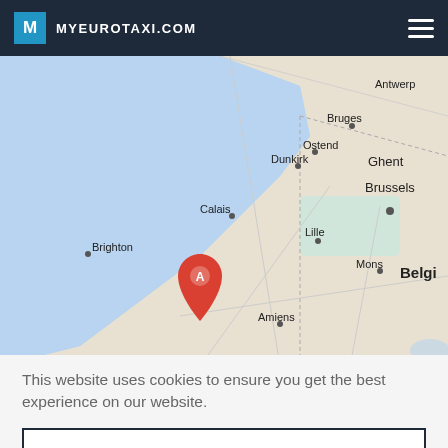MYEUROTAXI.COM
[Figure (map): Google Maps view showing northern France and Belgium region with cities: Brighton, Calais, Dunkirk, Bruges, Antwerp, Ostend, Ghent, Brussels, Lille, Amiens, Mons, Belgium. A red location marker labeled 'A' is placed near the northern France coast between Calais and Amiens.]
This website uses cookies to ensure you get the best experience on our website.
OK